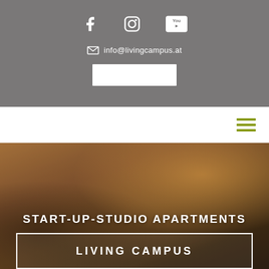[Figure (other): Gray header bar with Facebook, Instagram, and YouTube social media icons, an email address info@livingcampus.at with envelope icon, and a white rectangular form field below]
info@livingcampus.at
[Figure (other): White navigation bar with olive/yellow-green hamburger menu icon on the right]
[Figure (photo): Hero image showing people working at a table, hands with phone, pen and paper, with warm orange lighting overlay]
START-UP-STUDIO APARTMENTS
LIVING CAMPUS